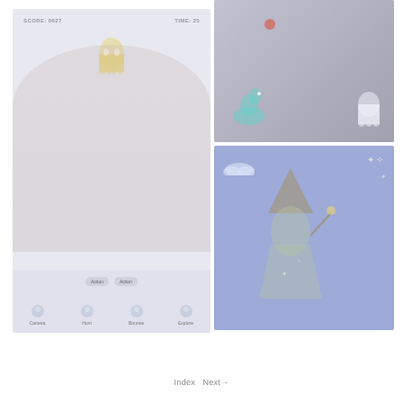[Figure (screenshot): Screenshot of a mobile AR game interface showing a person's face with a ghost character floating above their head. The screen shows score '0627' and time '25'. Bottom of the screen shows game UI with character icons labeled Camera, Hunt, Bounce, Explore.]
[Figure (photo): Photo of a person's dark shirt with AR stickers projected on it - a teal dinosaur (brachiosaurus) and a small glowing red orb, plus another white creature sticker.]
[Figure (illustration): Illustrated image on blue/purple background showing a fantasy scene with a wizard or fairy character floating among clouds and stars.]
Index  Next→